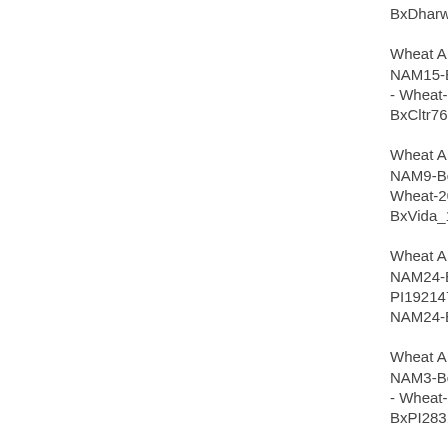BxDharwarDry_1B
Wheat ABD - Wheat NAM15-Berkut-x-Cltr - Wheat-2018-NAM15-BxCltr7635_1B
Wheat ABD - Wheat NAM9-Berkut-x-Vida - Wheat-2018-NAM9-BxVida_1B
Wheat ABD - Wheat NAM24-Berkut-x-PI192147 - Wheat-2018-NAM24-BxPI192147
Wheat ABD - Wheat NAM3-Berkut-x-PI283147 - Wheat-2018-NAM3-BxPI283147_1B
Wheat ABD - Wheat NAM9-Berkut-x-Vida - Wheat-2018-NAM9-BxVida_1B
Wheat ABD - Wheat NAM2-Berkut-x-PI572692 - Wheat-2018-NAM2-BxPI572692_1B
Wheat ABD - Wheat